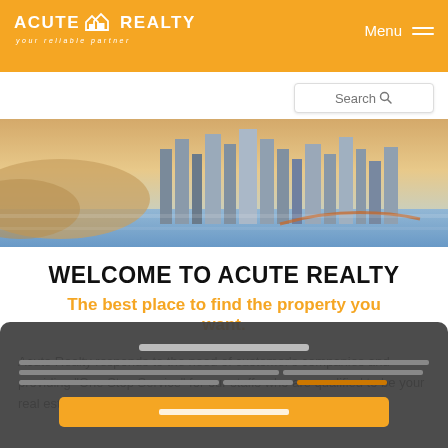Acute Realty — your reliable partner | Menu
Search
[Figure (photo): Aerial panoramic view of a large modern city with skyscrapers along a river, warm orange-blue tones (appears to be Chongqing, China)]
WELCOME TO ACUTE REALTY
The best place to find the property you want.
Acute Realty responds to the need of customer's companies and providing "One Stop Service" for our staffs who are qualified to be your real estate partner serving you with reliable information and